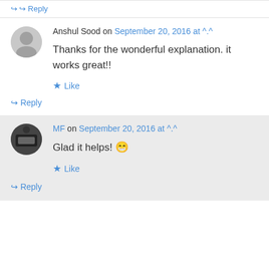↪ Reply
Anshul Sood on September 20, 2016 at ^.^
Thanks for the wonderful explanation. it works great!!
★ Like
↪ Reply
MF on September 20, 2016 at ^.^
Glad it helps! 😄
★ Like
↪ Reply